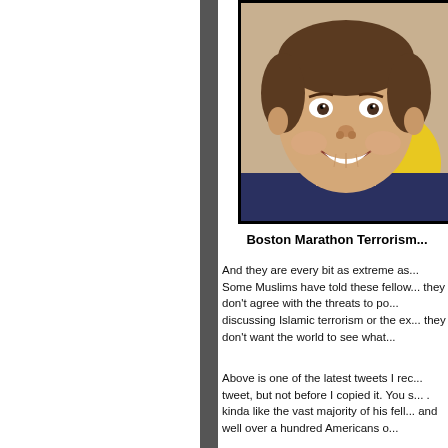[Figure (photo): Close-up photo of a young smiling boy with short dark hair against a yellow/dark background, framed with a black border.]
Boston Marathon Terrorism...
And they are every bit as extreme as... Some Muslims have told these fellow... they don't agree with the threats to po... discussing Islamic terrorism or the ex... they don't want the world to see what...
Above is one of the latest tweets I rec... tweet, but not before I copied it. You s... . kinda like the vast majority of his fell... and well over a hundred Americans o...